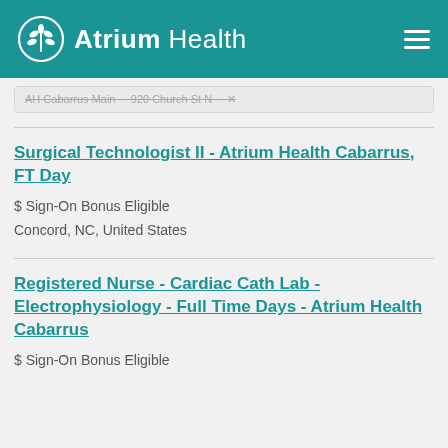Atrium Health
AH Cabarrus Main · 920 Church St N ·
Surgical Technologist II - Atrium Health Cabarrus, FT Day
$ Sign-On Bonus Eligible
Concord, NC, United States
Registered Nurse - Cardiac Cath Lab - Electrophysiology - Full Time Days - Atrium Health Cabarrus
$ Sign-On Bonus Eligible